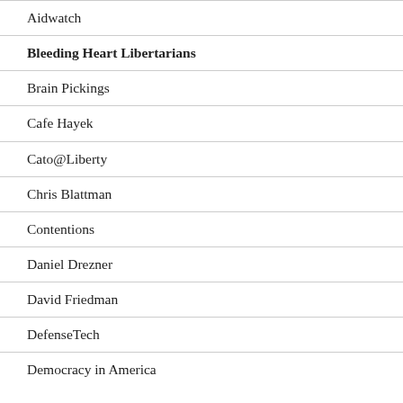Aidwatch
Bleeding Heart Libertarians
Brain Pickings
Cafe Hayek
Cato@Liberty
Chris Blattman
Contentions
Daniel Drezner
David Friedman
DefenseTech
Democracy in America